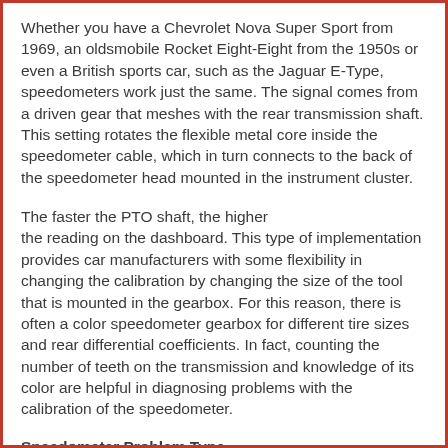Whether you have a Chevrolet Nova Super Sport from 1969, an oldsmobile Rocket Eight-Eight from the 1950s or even a British sports car, such as the Jaguar E-Type, speedometers work just the same. The signal comes from a driven gear that meshes with the rear transmission shaft. This setting rotates the flexible metal core inside the speedometer cable, which in turn connects to the back of the speedometer head mounted in the instrument cluster.
The faster the PTO shaft, the higher the reading on the dashboard. This type of implementation provides car manufacturers with some flexibility in changing the calibration by changing the size of the tool that is mounted in the gearbox. For this reason, there is often a color speedometer gearbox for different tire sizes and rear differential coefficients. In fact, counting the number of teeth on the transmission and knowledge of its color are helpful in diagnosing problems with the calibration of the speedometer.
Speedometer Problem Type